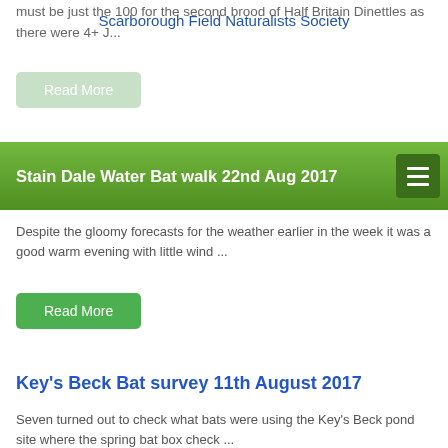must be just the 100 for the second brood of Half Britain Dinettles as there were 4+ J...
Scarborough Field Naturalists Society
Read More
Stain Dale Water Bat walk 22nd Aug 2017
Despite the gloomy forecasts for the weather earlier in the week it was a good warm evening with little wind ...
Read More
Key's Beck Bat survey 11th August 2017
Seven turned out to check what bats were using the Key's Beck pond site where the spring bat box check ...
Read More
Broxa Nightjar walk 18th July 2017
What an evening. After and inauspicious start with a gusty wind and mist occasionally rolling around it did not seem ...